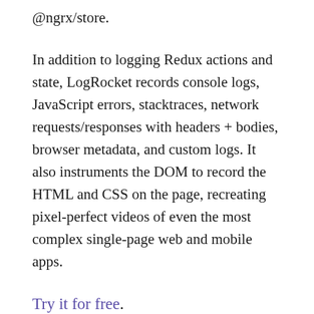@ngrx/store.
In addition to logging Redux actions and state, LogRocket records console logs, JavaScript errors, stacktraces, network requests/responses with headers + bodies, browser metadata, and custom logs. It also instruments the DOM to record the HTML and CSS on the page, recreating pixel-perfect videos of even the most complex single-page web and mobile apps.
Try it for free.
Share this:
Twitter  Reddit  LinkedIn  Facebook